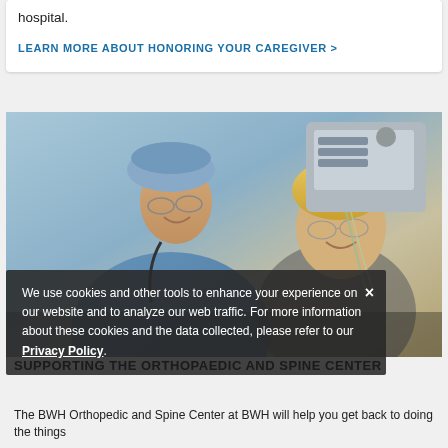hospital.
LEARN MORE ABOUT HONORING YOUR CAREGIVER >
[Figure (photo): A doctor in surgical scrubs and cap smiles at an older female patient in a hospital setting with medical equipment in the background.]
We use cookies and other tools to enhance your experience on our website and to analyze our web traffic. For more information about these cookies and the data collected, please refer to our Privacy Policy.
SUPPORTING THE ORTHOPAEDIC AND SPINE CENTER
The BWH Orthopedic and Spine Center at BWH will help you get back to doing the things